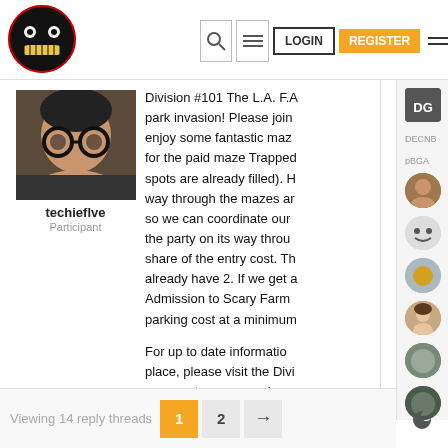LOGIN | REGISTER
[Figure (logo): Circular logo with smiley face and text around border]
[Figure (photo): User avatar photo of person wearing large round glasses]
techieflve
Participant
Division #101 The L.A. F.A park invasion! Please join enjoy some fantastic maz for the paid maze Trapped spots are already filled). H way through the mazes ar so we can coordinate our the party on its way throu share of the entry cost. Th already have 2. If we get a Admission to Scary Farm parking cost at a minimum
For up to date informatio place, please visit the Divi comments, or general go
Viewing 14 reply threads 1 2 →